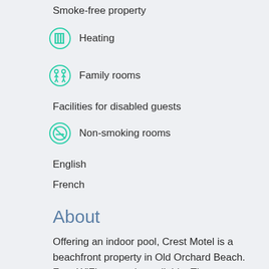Smoke-free property
Heating
Family rooms
Facilities for disabled guests
Non-smoking rooms
English
French
About
Offering an indoor pool, Crest Motel is a beachfront property in Old Orchard Beach. Free WiFi access is available. The town center is just 5 minutes' walk. Each room here will provide you with a TV with cable channels, air conditioning and a balcony.